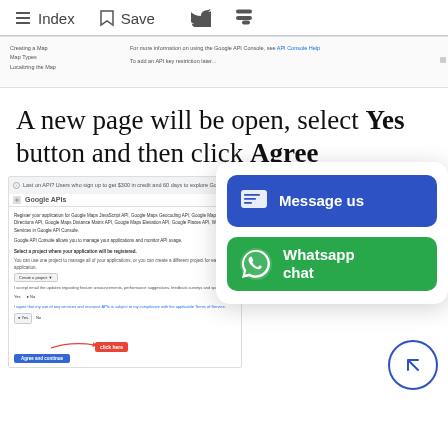Index  Save
[Figure (screenshot): Partial screenshot of a Google Maps API Console page showing menu items and instructions]
A new page will be open, select Yes button and then click Agree
[Figure (screenshot): Screenshot of Google APIs registration page with 'click here' annotation and red arrow pointing to Yes/Agree button]
[Figure (infographic): Chat panel with two buttons: blue 'Message us' button and green 'Whatsapp chat' button]
[Figure (other): Navigation circle with arrow pointing right-down]